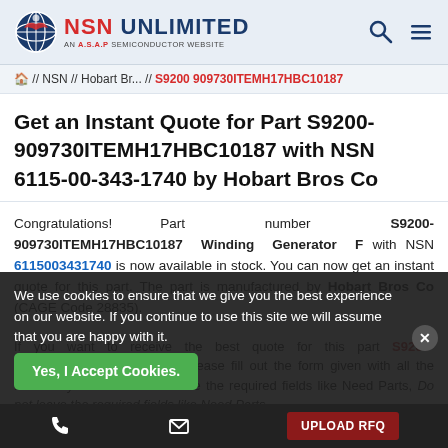NSN UNLIMITED — AN A.S.A.P SEMICONDUCTOR WEBSITE
🏠 // NSN // Hobart Br... // S9200 909730ITEMH17HBC10187
Get an Instant Quote for Part S9200-909730ITEMH17HBC10187 with NSN 6115-00-343-1740 by Hobart Bros Co
Congratulations! Part number S9200-909730ITEMH17HBC10187 Winding Generator F with NSN 6115003431740 is now available in stock. You can now get an instant quote for this part. The part is manufactured by Hobart Bros Co (CAGE Code 28835).
If you want to receive the best quote for this part S9200-909730ITEMH17HBC10187, please fill out the form given with all the necessary details. Do not leave the required fields like Need Parts...
We use cookies to ensure that we give you the best experience on our website. If you continue to use this site we will assume that you are happy with it.
Yes, I Accept Cookies.